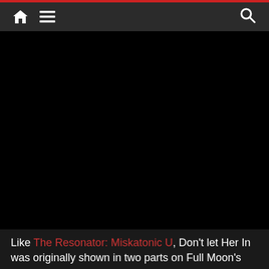Navigation bar with home icon, menu icon, and search icon
[Figure (other): Large black video embed area beneath the navigation bar]
Like The Resonator: Miskatonic U, Don't let Her In was originally shown in two parts on Full Moon's